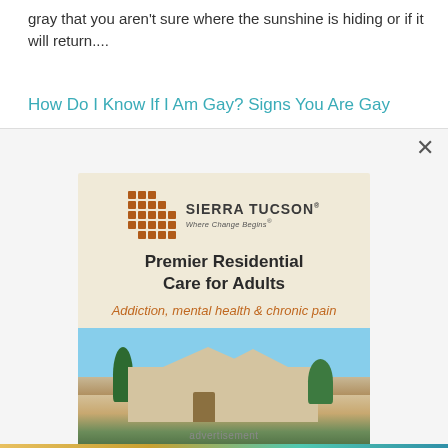gray that you aren't sure where the sunshine is hiding or if it will return....
How Do I Know If I Am Gay? Signs You Are Gay
[Figure (screenshot): Advertisement modal overlay with close button (×). Sierra Tucson logo with grid icon. Ad text: 'Premier Residential Care for Adults' and 'Addiction, mental health & chronic pain'. Photo of a Southwestern-style building with desert landscaping.]
advertisement